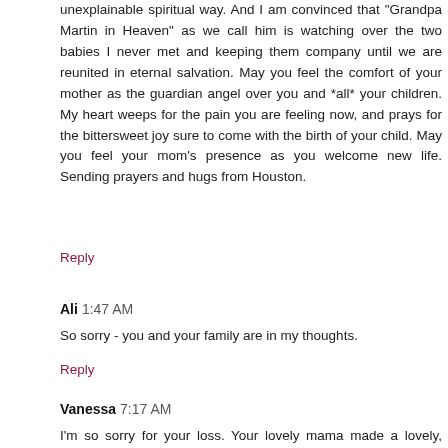unexplainable spiritual way. And I am convinced that "Grandpa Martin in Heaven" as we call him is watching over the two babies I never met and keeping them company until we are reunited in eternal salvation. May you feel the comfort of your mother as the guardian angel over you and *all* your children. My heart weeps for the pain you are feeling now, and prays for the bittersweet joy sure to come with the birth of your child. May you feel your mom's presence as you welcome new life. Sending prayers and hugs from Houston.
Reply
Ali  1:47 AM
So sorry - you and your family are in my thoughts.
Reply
Vanessa  7:17 AM
I'm so sorry for your loss. Your lovely mama made a lovely, creative family. Hugs to you.